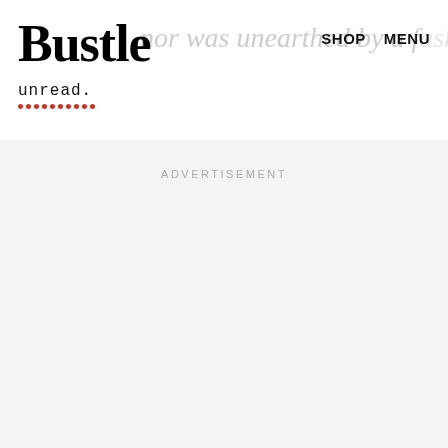Bustle  SHOP  MENU
nor was unearthed by a f...n r...
unread.
[Figure (other): Advertisement placeholder area with light gray background]